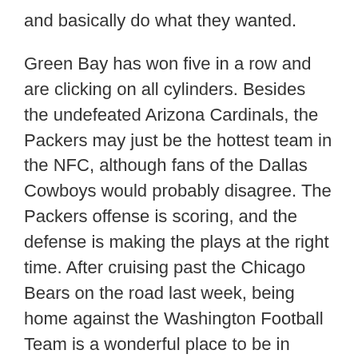and basically do what they wanted.
Green Bay has won five in a row and are clicking on all cylinders. Besides the undefeated Arizona Cardinals, the Packers may just be the hottest team in the NFC, although fans of the Dallas Cowboys would probably disagree. The Packers offense is scoring, and the defense is making the plays at the right time. After cruising past the Chicago Bears on the road last week, being home against the Washington Football Team is a wonderful place to be in Week 7. On the other hand, the New York Jets (ML+270) have been nothing short of a dumpster fire. Despite their Week 4 upset win over the Tennessee Titans, a Titans team mind you that was missing its top two wide receivers, the Jets have been borderline unwatchable.